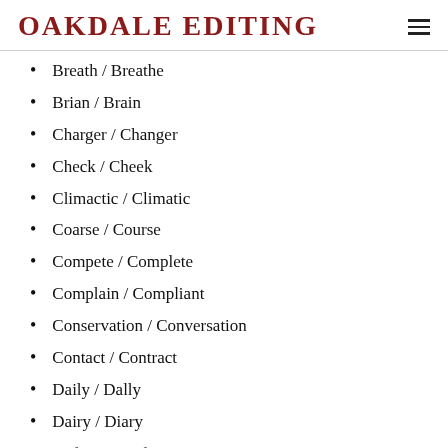OAKDALE EDITING
Breath / Breathe
Brian / Brain
Charger / Changer
Check / Cheek
Climactic / Climatic
Coarse / Course
Compete / Complete
Complain / Compliant
Conservation / Conversation
Contact / Contract
Daily / Dally
Dairy / Diary
Definite / Defiant
Discuss / Discus
Diverse / Divers